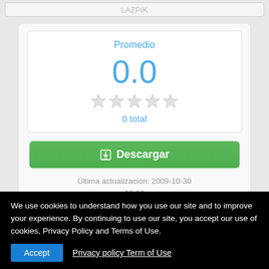Promedio
0.0
0 total
Descargar
Última actualización: 2009-10-30 15:08
Rowscope
We use cookies to understand how you use our site and to improve your experience. By continuing to use our site, you accept our use of cookies, Privacy Policy and Terms of Use.
Accept
Privacy policy Term of Use
(Machine Translation)